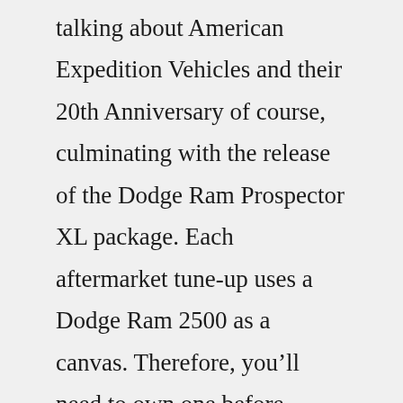talking about American Expedition Vehicles and their 20th Anniversary of course, culminating with the release of the Dodge Ram Prospector XL package. Each aftermarket tune-up uses a Dodge Ram 2500 as a canvas. Therefore, you'll need to own one before dropping AEV a line. However, once you do, the good folk over in their Michigan-based ... Side Steps & Running Boards. Traditional Side Steps